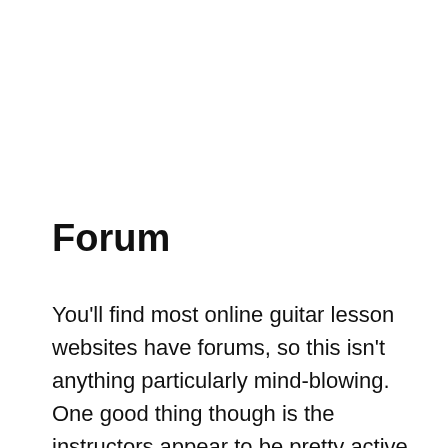Forum
You'll find most online guitar lesson websites have forums, so this isn't anything particularly mind-blowing. One good thing though is the instructors appear to be pretty active in the forum. I'd like to see a bit more engagement going on from student to